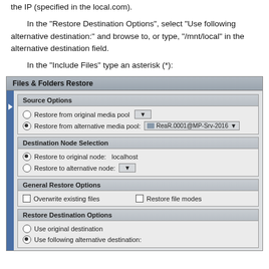the IP (specified in the local.com).
In the "Restore Destination Options", select "Use following alternative destination:" and browse to, or type, "/mnt/local" in the alternative destination field.
In the "Include Files" type an asterisk (*):
[Figure (screenshot): Screenshot of Files & Folders Restore dialog showing Source Options (Restore from original media pool with dropdown, Restore from alternative media pool selected with ReaR.0001@MP-Srv-2016 dropdown), Destination Node Selection (Restore to original node: localhost selected, Restore to alternative node with dropdown), General Restore Options (Overwrite existing files checkbox, Restore file modes checkbox), and Restore Destination Options (Use original destination radio, Use following alternative destination radio selected).]